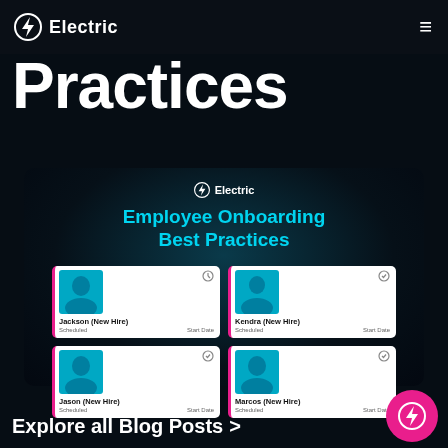Electric
Practices
[Figure (screenshot): Employee Onboarding Best Practices UI card showing four new hire employee cards: Jackson (New Hire) Scheduled / Start Date, Kendra (New Hire) Scheduled / Start Date, Jason (New Hire) Scheduled / Start Date, Marcos (New Hire) Scheduled / Start Date]
Explore all Blog Posts >